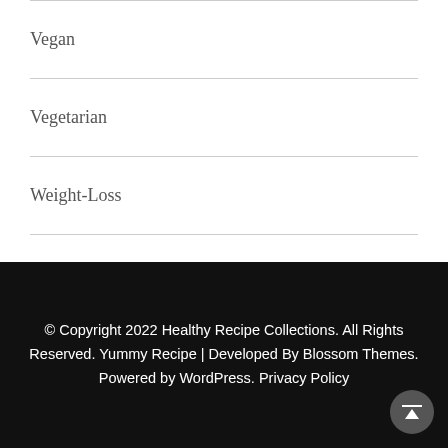Vegan
Vegetarian
Weight-Loss
© Copyright 2022 Healthy Recipe Collections. All Rights Reserved. Yummy Recipe | Developed By Blossom Themes. Powered by WordPress. Privacy Policy